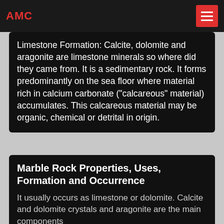AMC
Limestone Formation: Calcite, dolomite and aragonite are limestone minerals so where did they came from. It is a sedimentary rock. It forms predominantly on the sea floor where material rich in calcium carbonate ("calcareous" material) accumulates. This calcareous material may be organic, chemical or detrital in origin.
Marble Rock Properties, Uses, Formation and Occurrence
It usually occurs as limestone or dolomite. Calcite and dolomite crystals and aragonite are the main components of marble. Metamorphism is the change of